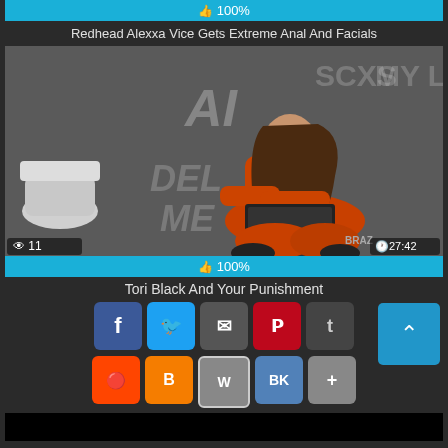👍 100%
Redhead Alexxa Vice Gets Extreme Anal And Facials
[Figure (screenshot): Video thumbnail showing a woman in an orange prison jumpsuit sitting cross-legged on a surface in a cell-like room with graffiti on gray walls. View count: 11, Duration: 27:42, Branding: BRAZ]
👍 100%
Tori Black And Your Punishment
Share buttons: Facebook, Twitter, Email, Pinterest, Tumblr, Reddit, Blogger, WordPress, VK, More